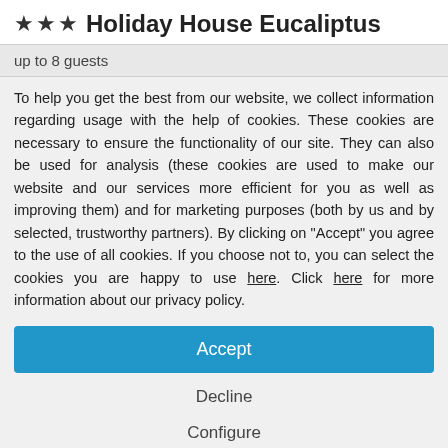★★★ Holiday House Eucaliptus
up to 8 guests
To help you get the best from our website, we collect information regarding usage with the help of cookies. These cookies are necessary to ensure the functionality of our site. They can also be used for analysis (these cookies are used to make our website and our services more efficient for you as well as improving them) and for marketing purposes (both by us and by selected, trustworthy partners). By clicking on "Accept" you agree to the use of all cookies. If you choose not to, you can select the cookies you are happy to use here. Click here for more information about our privacy policy.
Accept
Decline
Configure